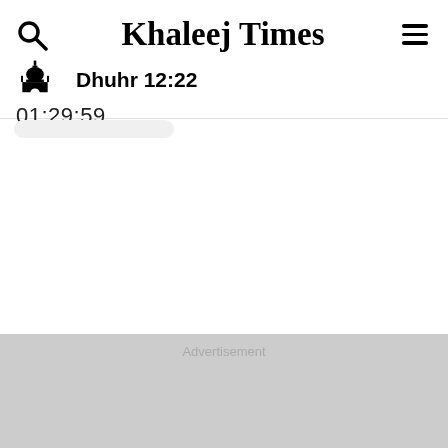Khaleej Times
Dhuhr 12:22
01:29:59
Advertisement